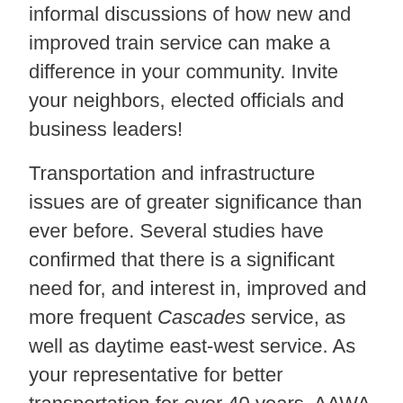informal discussions of how new and improved train service can make a difference in your community. Invite your neighbors, elected officials and business leaders!
Transportation and infrastructure issues are of greater significance than ever before. Several studies have confirmed that there is a significant need for, and interest in, improved and more frequent Cascades service, as well as daytime east-west service. As your representative for better transportation for over 40 years, AAWA wants your voice to be heard in Olympia!
During the 2021 Train Trek, AAWA will share its vision for improved train service. We will discuss how expanded passenger rail service can bring significant economic, equity, and environmental benefits to the communities it serves. But most of all, we want to hear from citizens, community leaders, and elected officials about the